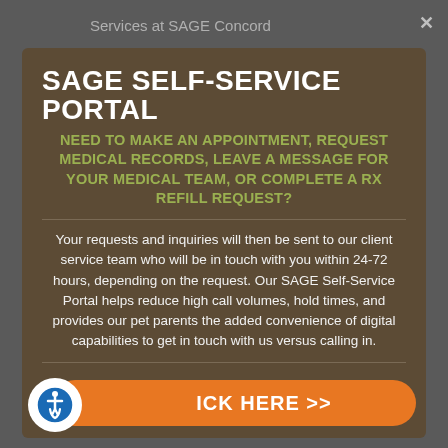Services at SAGE Concord
SAGE SELF-SERVICE PORTAL
NEED TO MAKE AN APPOINTMENT, REQUEST MEDICAL RECORDS, LEAVE A MESSAGE FOR YOUR MEDICAL TEAM, OR COMPLETE A RX REFILL REQUEST?
Your requests and inquiries will then be sent to our client service team who will be in touch with you within 24-72 hours, depending on the request. Our SAGE Self-Service Portal helps reduce high call volumes, hold times, and provides our pet parents the added convenience of digital capabilities to get in touch with us versus calling in.
ICK HERE >>